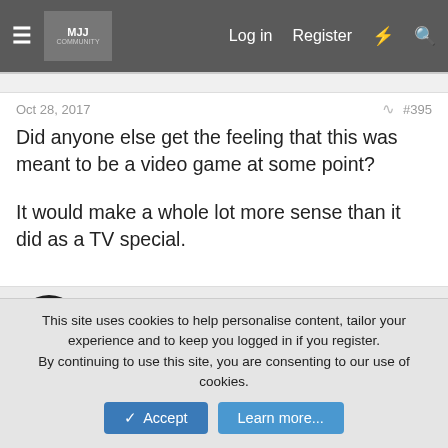Log in   Register
Oct 28, 2017   #395
Did anyone else get the feeling that this was meant to be a video game at some point?

It would make a whole lot more sense than it did as a TV special.
dam2040
Proud Member
Oct 28, 2017   #396
I liked it. Kept thinking how his Halloween special would've
This site uses cookies to help personalise content, tailor your experience and to keep you logged in if you register.
By continuing to use this site, you are consenting to our use of cookies.
✓ Accept    Learn more...